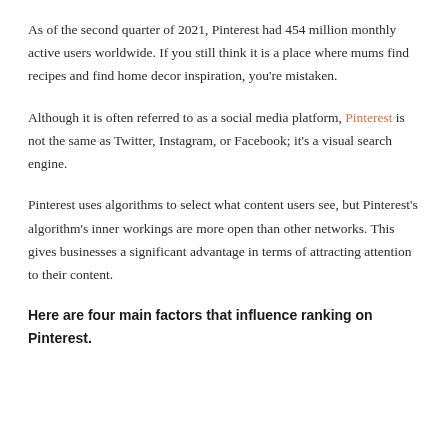As of the second quarter of 2021, Pinterest had 454 million monthly active users worldwide. If you still think it is a place where mums find recipes and find home decor inspiration, you're mistaken.
Although it is often referred to as a social media platform, Pinterest is not the same as Twitter, Instagram, or Facebook; it's a visual search engine.
Pinterest uses algorithms to select what content users see, but Pinterest's algorithm's inner workings are more open than other networks. This gives businesses a significant advantage in terms of attracting attention to their content.
Here are four main factors that influence ranking on Pinterest.